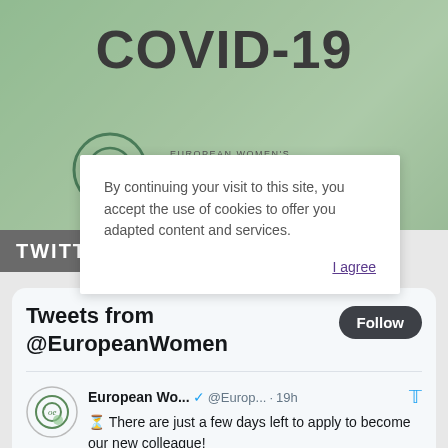[Figure (screenshot): Hero banner with green-tinted background showing hands, COVID-19 title text, and European Women's Lobby logo with circle graphic]
By continuing your visit to this site, you accept the use of cookies to offer you adapted content and services.
I agree
TWITTER FEE...
Tweets from @EuropeanWomen
Follow
European Wo... @Europ... · 19h
There are just a few days left to apply to become our new colleague!